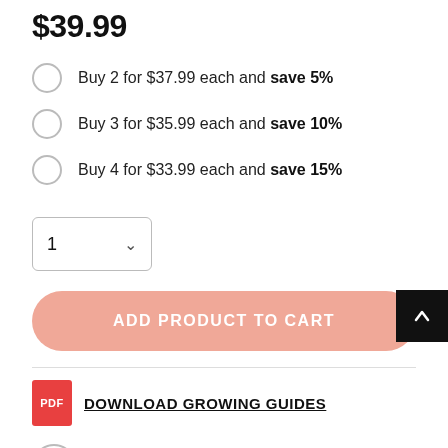$39.99
Buy 2 for $37.99 each and save 5%
Buy 3 for $35.99 each and save 10%
Buy 4 for $33.99 each and save 15%
1 (quantity dropdown)
ADD PRODUCT TO CART
DOWNLOAD GROWING GUIDES